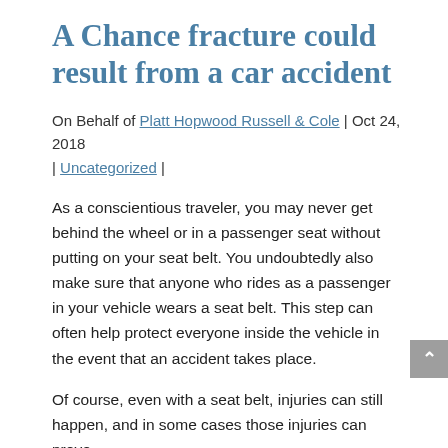A Chance fracture could result from a car accident
On Behalf of Platt Hopwood Russell & Cole | Oct 24, 2018 | Uncategorized |
As a conscientious traveler, you may never get behind the wheel or in a passenger seat without putting on your seat belt. You undoubtedly also make sure that anyone who rides as a passenger in your vehicle wears a seat belt. This step can often help protect everyone inside the vehicle in the event that an accident takes place.
Of course, even with a seat belt, injuries can still happen, and in some cases those injuries can prove